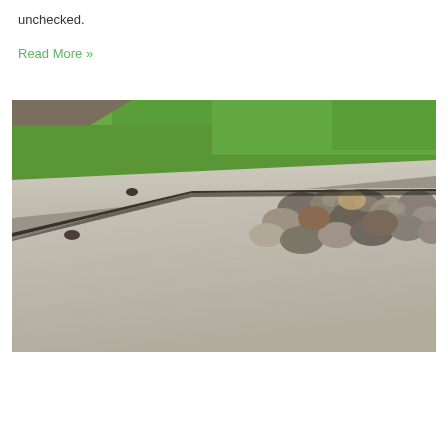unchecked.
Read More »
[Figure (photo): Close-up photograph of cracked/heaved concrete sidewalk slabs with rocks/gravel border and green grass in the background]